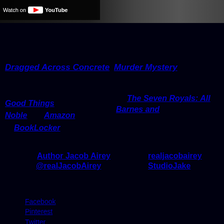[Figure (screenshot): YouTube watch bar overlay on a dark photo showing partial face/shoulder]
Dragged Across Concrete
Murder Mystery
Good Things
The Seven Royals: All
Barnes and
Noble   Amazon
BookLocker
Author Jacob Airey
@realJacobAirey
realjacobairey
StudioJake
Facebook
Pinterest
Twitter
LinkedIn